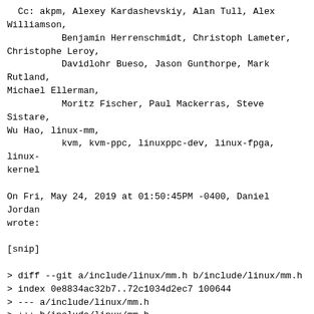Cc: akpm, Alexey Kardashevskiy, Alan Tull, Alex Williamson,
          Benjamin Herrenschmidt, Christoph Lameter, Christophe Leroy,
          Davidlohr Bueso, Jason Gunthorpe, Mark Rutland, Michael Ellerman,
          Moritz Fischer, Paul Mackerras, Steve Sistare, Wu Hao, linux-mm,
          kvm, kvm-ppc, linuxppc-dev, linux-fpga, linux-kernel

On Fri, May 24, 2019 at 01:50:45PM -0400, Daniel Jordan wrote:

[snip]

> diff --git a/include/linux/mm.h b/include/linux/mm.h
> index 0e8834ac32b7..72c1034d2ec7 100644
> --- a/include/linux/mm.h
> +++ b/include/linux/mm.h
> @@ -1564,6 +1564,25 @@ long get_user_pages_unlocked(unsigned long start, unsigned long nr_pages,
>  int get_user_pages_fast(unsigned long start, int nr_pages,
> 				unsigned int gup_flags, struct page **pages);
> 
> +int __account_locked_vm(struct mm_struct *mm, unsigned long pages, bool inc,